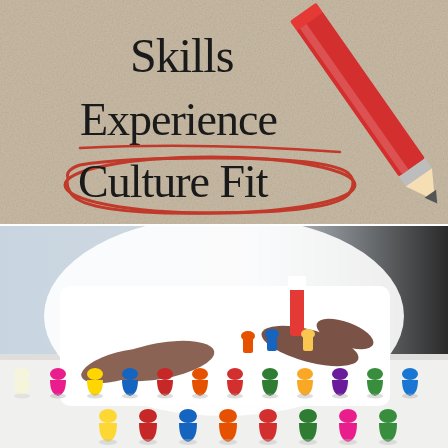[Figure (photo): A beige textured paper background with 'Skills', 'Experience', and 'Culture Fit' written in dark hand-lettered text. 'Culture Fit' is circled in red pencil. A large red pencil is visible in the upper right corner.]
[Figure (photo): A person in a white shirt arranging colorful game pawn figures (in various colors: white, pink, yellow, blue, orange, red, green, purple) on a white table surface. A red and white object is also visible being held. The background is light blue/grey on the left and dark on the right.]